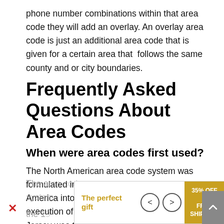phone number combinations within that area code they will add an overlay. An overlay area code is just an additional area code that is given for a certain area that follows the same county and or city boundaries.
Frequently Asked Questions About Area Codes
When were area codes first used?
The North American area code system was formulated in 1947, which divided North America into 86 numbering plan areas. The execution of the plan began in 1951. New Jersey was the first one to get an area code which was 201. The idea was to facilitate direct dialing of long distance phone calls.